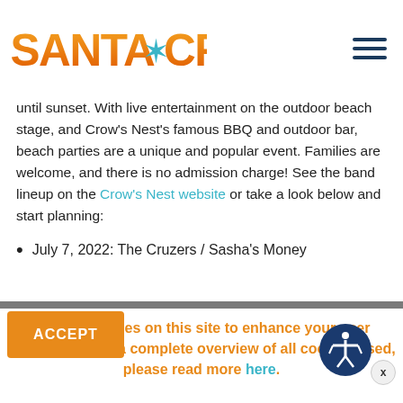Santa Cruz
until sunset. With live entertainment on the outdoor beach stage, and Crow's Nest's famous BBQ and outdoor bar, beach parties are a unique and popular event. Families are welcome, and there is no admission charge! See the band lineup on the Crow's Nest website or take a look below and start planning:
July 7, 2022: The Cruzers / Sasha's Money
We use cookies on this site to enhance your user experience. For a complete overview of all cookies used, please read more here.